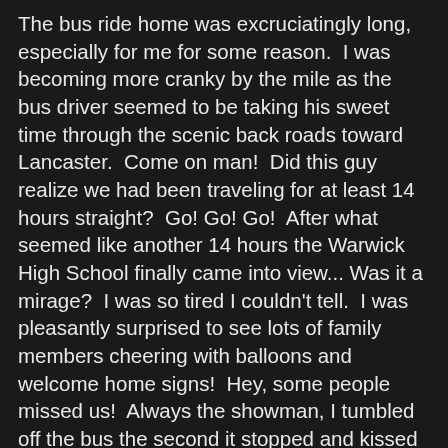The bus ride home was excruciatingly long, especially for me for some reason.  I was becoming more cranky by the mile as the bus driver seemed to be taking his sweet time through the scenic back roads toward Lancaster.  Come on man!  Did this guy realize we had been traveling for at least 14 hours straight?  Go! Go! Go!  After what seemed like another 14 hours the Warwick High School finally came into view... Was it a mirage?  I was so tired I couldn't tell.  I was pleasantly surprised to see lots of family members cheering with balloons and welcome home signs!  Hey, some people missed us!  Always the showman, I tumbled off the bus the second it stopped and kissed the sidewalk to laughs and applause.  It felt so good to be reunited with my family who had all come out to welcome me home!   I was beat and looking forward to sleeping in my old familiar bed and a good night's rest!  I was finally home!  Our three dogs were a welcome sight and I was greeted with a group Fred Flintstone meets Dino like reception!  However, I doubt our cats ever noticed I was even gone.  I brought home a lot of chocolate and other German treats for my family, some of which have become favorites.  My kids especially liked Knoppers, which we later ordered through a vendor on